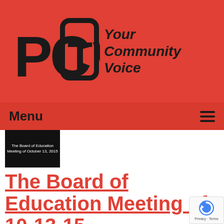[Figure (logo): PCTV logo with stylized letters PC and TV in black on red background, with tagline 'Your Community Voice' in italic bold]
Menu ≡
[Figure (screenshot): Thumbnail of The Board of Education Meeting of October 13, 2015 video, black background with white text]
The Board of Education Meeting of 10-13-15
Airdate: 10/13/2015
Watched: 36 times